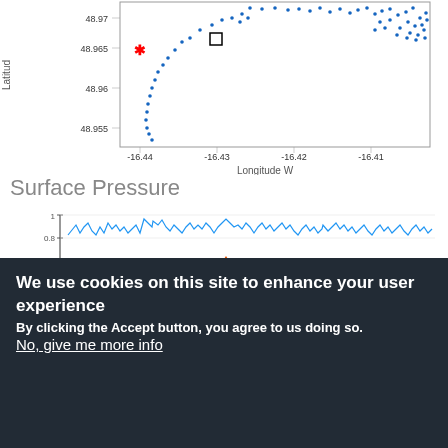[Figure (map): Scatter map showing GPS positions in blue dots around latitude 48.955-48.97, longitude -16.44 to -16.41. A red asterisk marker at approximately (48.965, -16.44) and a small black square at approximately (48.968, -16.43). Axes labeled 'Latitude' (y) and 'Longitude W' (x).]
Surface Pressure
[Figure (line-chart): Two time-series lines from 01/05 to 01/09. Blue line fluctuates between ~0 and ~1.05. Orange line fluctuates between ~-0.05 and ~0.8. Y-axis ticks: -0.2, 0, 0.2, 0.4, 0.6, 0.8, 1. X-axis ticks: 01/05, 01/06, 01/07, 01/08, 01/09.]
Mooring Position from Met Iridium Transmitter
[Figure (map): Partial map showing top portion of a mooring position map, cut off at bottom of visible area.]
We use cookies on this site to enhance your user experience
By clicking the Accept button, you agree to us doing so.
No, give me more info